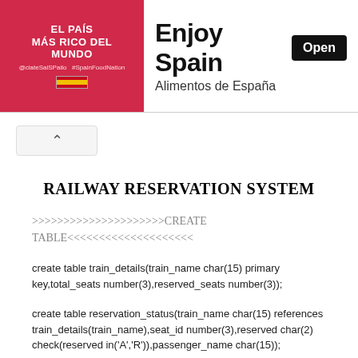[Figure (other): Advertisement banner for Enjoy Spain / Alimentos de España with red background image on left, title 'Enjoy Spain', subtitle 'Alimentos de España', and 'Open' button on right]
^
RAILWAY RESERVATION SYSTEM
>>>>>>>>>>>>>>>>>>>>CREATE TABLE<<<<<<<<<<<<<<<<<<<<
create table train_details(train_name char(15) primary key,total_seats number(3),reserved_seats number(3));
create table reservation_status(train_name char(15) references train_details(train_name),seat_id number(3),reserved char(2) check(reserved in('A','R')),passenger_name char(15));